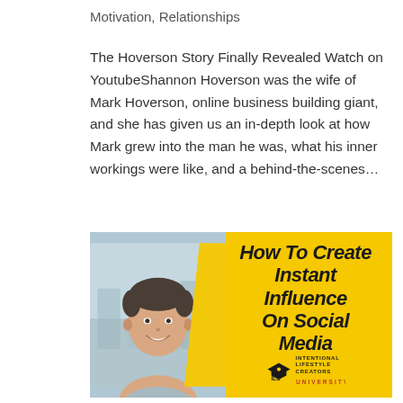Motivation, Relationships
The Hoverson Story Finally Revealed Watch on YoutubeShannon Hoverson was the wife of Mark Hoverson, online business building giant, and she has given us an in-depth look at how Mark grew into the man he was, what his inner workings were like, and a behind-the-scenes…
[Figure (photo): Promotional image showing a smiling man on the left (photo background) and yellow panel on the right with bold text reading 'How To Create Instant Influence on Social Media' and the Intentional Lifestyle Creators University logo at the bottom.]